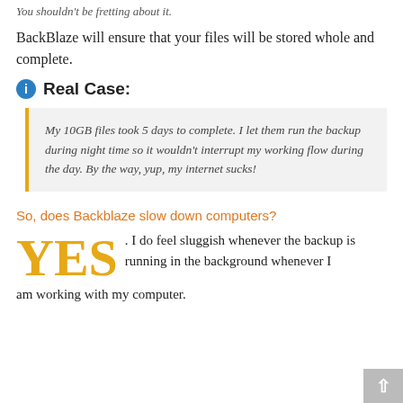You shouldn't be fretting about it.
BackBlaze will ensure that your files will be stored whole and complete.
Real Case:
My 10GB files took 5 days to complete. I let them run the backup during night time so it wouldn't interrupt my working flow during the day. By the way, yup, my internet sucks!
So, does Backblaze slow down computers?
YES. I do feel sluggish whenever the backup is running in the background whenever I am working with my computer.